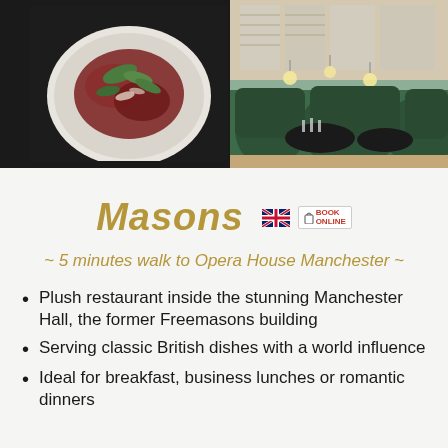[Figure (photo): Food dish - beef carpaccio with greens on a white plate, dark background]
[Figure (photo): Restaurant interior with green velvet curved booths, round tables set with glasses, wooden floors and large windows]
Masons
~ 5 minutes walk to Opera House Manchester ~
Plush restaurant inside the stunning Manchester Hall, the former Freemasons building
Serving classic British dishes with a world influence
Ideal for breakfast, business lunches or rom...